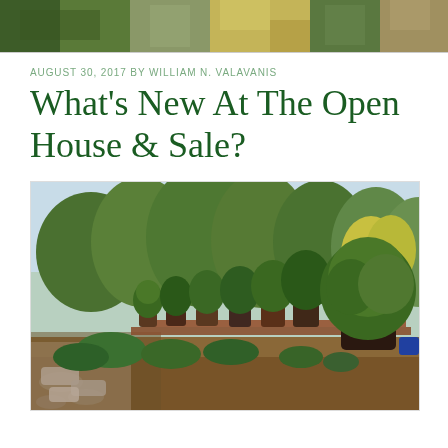[Figure (photo): Top banner photo strip showing garden/outdoor scenes with green foliage and warm tones]
AUGUST 30, 2017 BY WILLIAM N. VALAVANIS
What's New At The Open House & Sale?
[Figure (photo): Outdoor bonsai garden display showing numerous bonsai trees on wooden display benches/tables, surrounded by large trees in background, stone pathway in foreground]